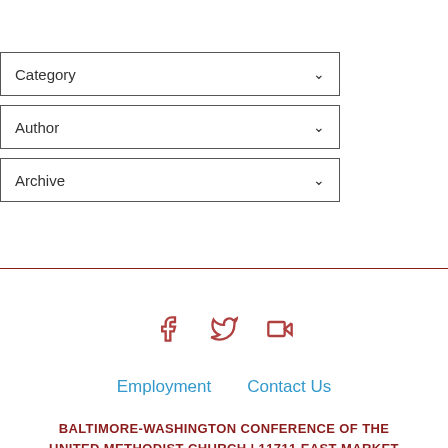[Figure (screenshot): Dropdown filter with label 'Category' and chevron arrow]
[Figure (screenshot): Dropdown filter with label 'Author' and chevron arrow]
[Figure (screenshot): Dropdown filter with label 'Archive' and chevron arrow]
[Figure (infographic): Social media icons: Facebook, Twitter, and Video camera (YouTube/Vimeo) in dark red/maroon outline style]
Employment    Contact Us
BALTIMORE-WASHINGTON CONFERENCE OF THE UNITED METHODIST CHURCH | 11711 EAST MARKET